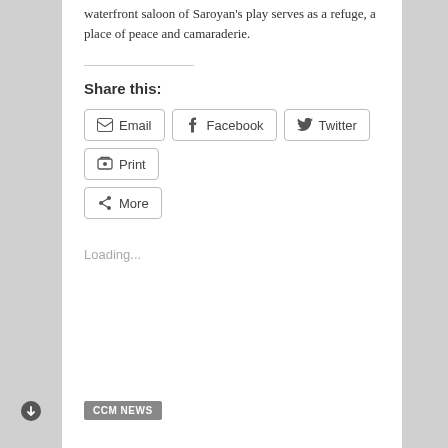waterfront saloon of Saroyan's play serves as a refuge, a place of peace and camaraderie.
Share this:
[Figure (screenshot): Share buttons row: Email, Facebook, Twitter, Print, and More buttons with icons]
Loading...
CCM NEWS